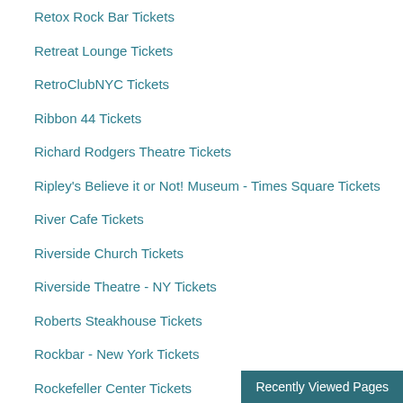Retox Rock Bar Tickets
Retreat Lounge Tickets
RetroClubNYC Tickets
Ribbon 44 Tickets
Richard Rodgers Theatre Tickets
Ripley's Believe it or Not! Museum - Times Square Tickets
River Cafe Tickets
Riverside Church Tickets
Riverside Theatre - NY Tickets
Roberts Steakhouse Tickets
Rockbar - New York Tickets
Rockefeller Center Tickets
Rockin The River Cruise Tickets
Rocks Off Concert Cruise - Aboard the Harbor Lights - New York Tickets
Rocks Off Concert Cruise - Boat Cruise A
Recently Viewed Pages